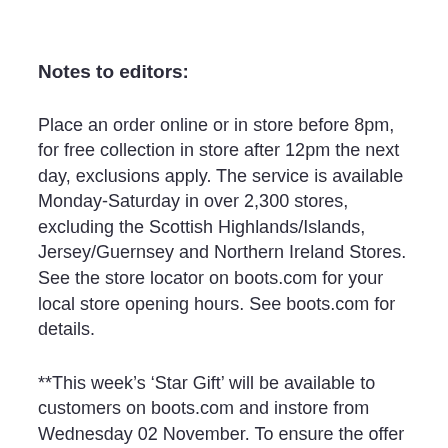Notes to editors:
Place an order online or in store before 8pm, for free collection in store after 12pm the next day, exclusions apply. The service is available Monday-Saturday in over 2,300 stores, excluding the Scottish Highlands/Islands, Jersey/Guernsey and Northern Ireland Stores. See the store locator on boots.com for your local store opening hours. See boots.com for details.
**This week’s ‘Star Gift’ will be available to customers on boots.com and instore from Wednesday 02 November. To ensure the offer is available to all